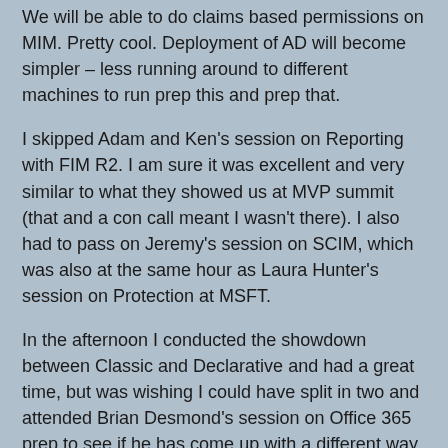We will be able to do claims based permissions on MIM. Pretty cool. Deployment of AD will become simpler – less running around to different machines to run prep this and prep that.
I skipped Adam and Ken's session on Reporting with FIM R2. I am sure it was excellent and very similar to what they showed us at MVP summit (that and a con call meant I wasn't there). I also had to pass on Jeremy's session on SCIM, which was also at the same hour as Laura Hunter's session on Protection at MSFT.
In the afternoon I conducted the showdown between Classic and Declarative and had a great time, but was wishing I could have split in two and attended Brian Desmond's session on Office 365 prep to see if he has come up with a different way to solve the issues.
I then yielded the stage to Carol Wapshere for the Sync Service migration toolkit – looking forward to those scripts.
Then a con call interrupted my attendance.
The Meet the experts was fun. I got to meet a lot of folks that